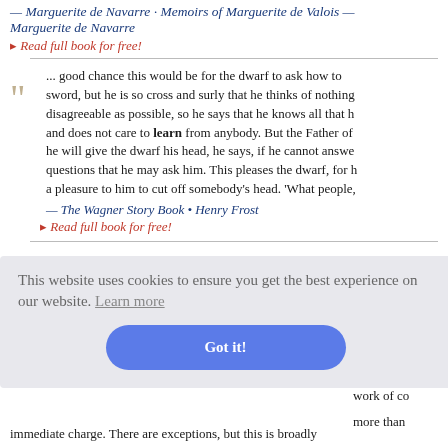— Marguerite de Navarre · Memoirs of Marguerite de Valois — Marguerite de Navarre
▸ Read full book for free!
... good chance this would be for the dwarf to ask how to sword, but he is so cross and surly that he thinks of nothing disagreeable as possible, so he says that he knows all that and does not care to learn from anybody. But the Father of he will give the dwarf his head, he says, if he cannot answer questions that he may ask him. This pleases the dwarf, for h a pleasure to him to cut off somebody's head. 'What people,
— The Wagner Story Book • Henry Frost
▸ Read full book for free!
This website uses cookies to ensure you get the best experience on our website. Learn more
Got it!
outs the ma cer should e man. Tha about the m work of co more than immediate charge. There are exceptions, but this is broadly